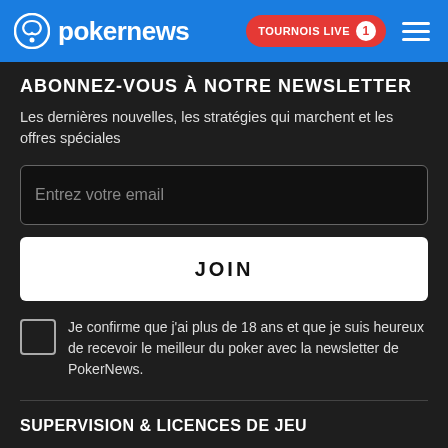pokernews | TOURNOIS LIVE 1
ABONNEZ-VOUS À NOTRE NEWSLETTER
Les dernières nouvelles, les stratégies qui marchent et les offres spéciales
Entrez votre email
JOIN
Je confirme que j'ai plus de 18 ans et que je suis heureux de recevoir le meilleur du poker avec la newsletter de PokerNews.
SUPERVISION & LICENCES DE JEU
[Figure (logo): GamStop logo - text GAM|STOP in bordered box]
[Figure (logo): RAIG. logo in white bold text]
[Figure (logo): BeGambleAware logo in white text]